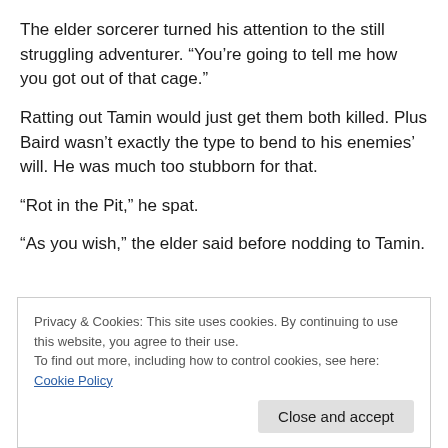The elder sorcerer turned his attention to the still struggling adventurer. “You’re going to tell me how you got out of that cage.”
Ratting out Tamin would just get them both killed. Plus Baird wasn’t exactly the type to bend to his enemies’ will. He was much too stubborn for that.
“Rot in the Pit,” he spat.
“As you wish,” the elder said before nodding to Tamin.
Privacy & Cookies: This site uses cookies. By continuing to use this website, you agree to their use.
To find out more, including how to control cookies, see here: Cookie Policy
Close and accept